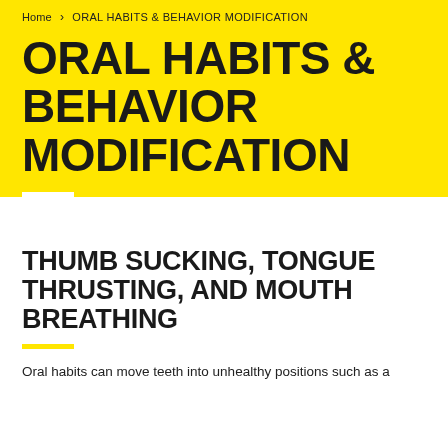Home > ORAL HABITS & BEHAVIOR MODIFICATION
ORAL HABITS & BEHAVIOR MODIFICATION
THUMB SUCKING, TONGUE THRUSTING, and MOUTH BREATHING
Oral habits can move teeth into unhealthy positions such as a